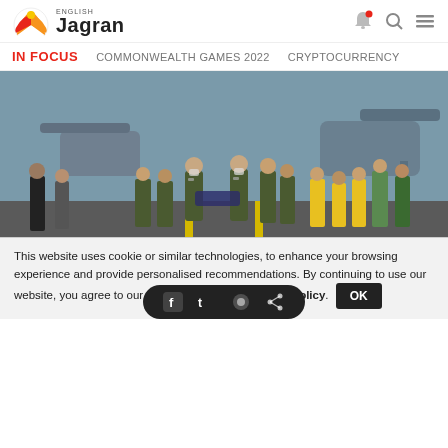ENGLISH Jagran
IN FOCUS   COMMONWEALTH GAMES 2022   CRYPTOCURRENCY
[Figure (photo): Nepalese army men in camouflage uniforms carrying a stretcher with a body on an airport tarmac, surrounded by ground crew in yellow vests and other officials, with helicopters in the background.]
Nepalese army men carry the dead body of a plane crash victim to
This website uses cookie or similar technologies, to enhance your browsing experience and provide personalised recommendations. By continuing to use our website, you agree to our Privacy Policy and Cookie Policy. OK